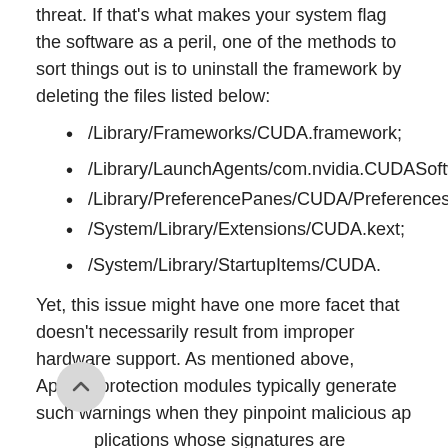threat. If that's what makes your system flag the software as a peril, one of the methods to sort things out is to uninstall the framework by deleting the files listed below:
/Library/Frameworks/CUDA.framework;
/Library/LaunchAgents/com.nvidia.CUDASoftwareUpda...
/Library/PreferencePanes/CUDA/Preferences.prefPane...
/System/Library/Extensions/CUDA.kext;
/System/Library/StartupItems/CUDA.
Yet, this issue might have one more facet that doesn't necessarily result from improper hardware support. As mentioned above, Apple's protection modules typically generate such warnings when they pinpoint malicious applications whose signatures are blacklisted or whose behavior appears to be anomalous. This is the case with numerous Mac adware executables, including...